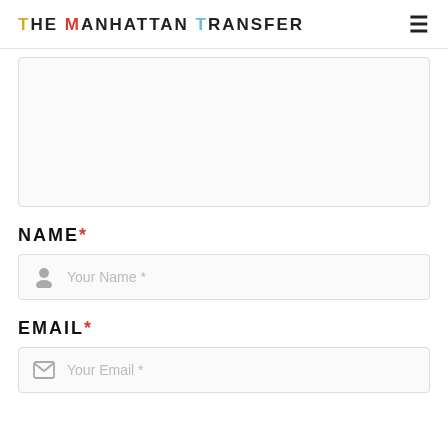THE MANHATTAN TRANSFER
[Figure (other): Large empty textarea/content box with light border]
NAME *
[Figure (other): Name input field with person icon and placeholder text 'Your Name *']
EMAIL *
[Figure (other): Email input field with envelope icon and placeholder text 'Your Email *']